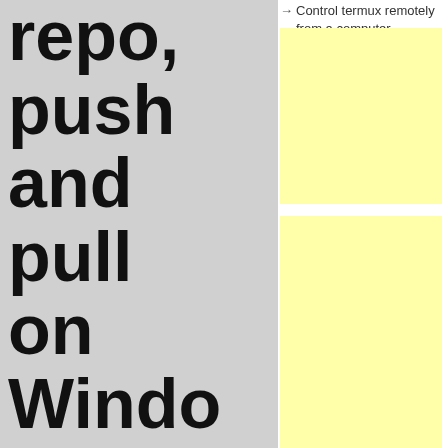repo, push and pull on Windows
JULY 28, 2016 | CODE | NO COMMENTS
[Figure (logo): Git logo tag with red diamond icon and 'git' text]
Needing to work i...
Control termux remotely from a computer
[Figure (other): Yellow advertisement box 1]
[Figure (other): Yellow advertisement box 2]